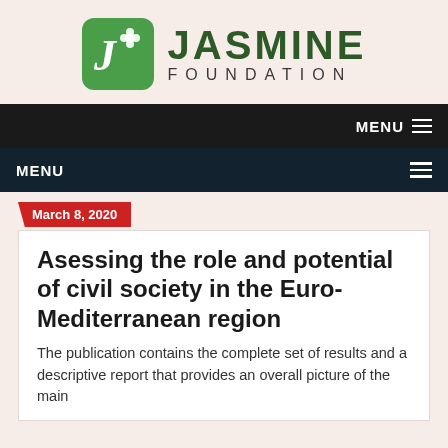[Figure (logo): Jasmine Foundation logo with green rounded square icon containing a stylized J and flower, and text JASMINE FOUNDATION]
MENU
MENU
March 8, 2020
Asessing the role and potential of civil society in the Euro-Mediterranean region
The publication contains the complete set of results and a descriptive report that provides an overall picture of the main